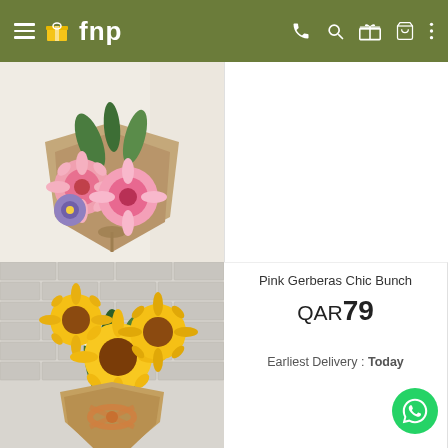fnp
[Figure (photo): Pink Gerberas flower bouquet wrapped in brown kraft paper with twine bow, white curtain background]
[Figure (photo): Sunflower bouquet with white flowers wrapped in burlap with orange/tan ribbon bow, white brick wall background]
Pink Gerberas Chic Bunch
QAR79
Earliest Delivery : Today
Sunflower Galore Bunch
QAR189
5% OFF  QAR199
Earliest Delivery : Today
[Figure (photo): Colorful flower bouquet with pink and orange blooms, partially visible at bottom]
[Figure (photo): Pink lily flower bouquet, partially visible at bottom]